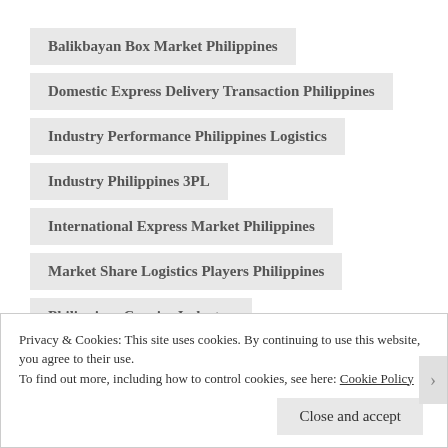Balikbayan Box Market Philippines
Domestic Express Delivery Transaction Philippines
Industry Performance Philippines Logistics
Industry Philippines 3PL
International Express Market Philippines
Market Share Logistics Players Philippines
Philippines Courier Industry
Philippines Express Delivery Market
Privacy & Cookies: This site uses cookies. By continuing to use this website, you agree to their use.
To find out more, including how to control cookies, see here: Cookie Policy
Close and accept